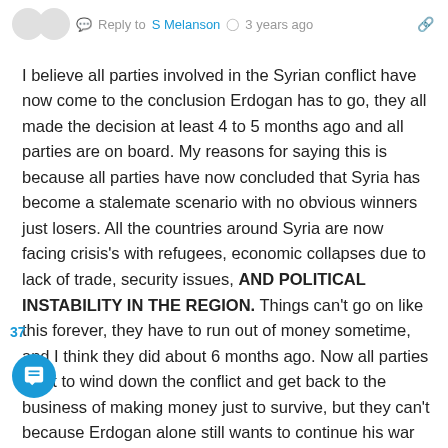Reply to S Melanson · 3 years ago
I believe all parties involved in the Syrian conflict have now come to the conclusion Erdogan has to go, they all made the decision at least 4 to 5 months ago and all parties are on board. My reasons for saying this is because all parties have now concluded that Syria has become a stalemate scenario with no obvious winners just losers. All the countries around Syria are now facing crisis's with refugees, economic collapses due to lack of trade, security issues, AND POLITICAL INSTABILITY IN THE REGION. Things can't go on like this forever, they have to run out of money sometime, and I think they did about 6 months ago. Now all parties want to wind down the conflict and get back to the business of making money just to survive, but they can't because Erdogan alone still wants to continue his war of Ottoman conquest, he's the odd man out now. Back when Assad took back Darra and Quneitra the dye was cast, all parties except for Erdogan sanctioned that, the US/Israel/Jordan/EU/Arab league and everyone else that may have been involved, only Erdogan still wanted war, when he refused to to stop when everyone else wanted to, he more or